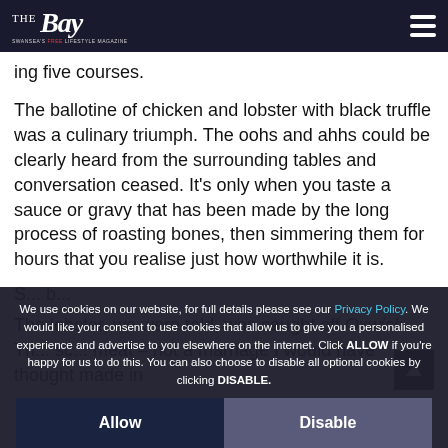The Bay — Swansea's Free Lifestyle Magazine
ing five courses.
The ballotine of chicken and lobster with black truffle was a culinary triumph. The oohs and ahhs could be clearly heard from the surrounding tables and conversation ceased. It's only when you taste a sauce or gravy that has been made by the long process of roasting bones, then simmering them for hours that you realise just how worthwhile it is.
S... b...
The lobster, we were told, was caught off Oxwich. The... sc... meat – not a marriage I would have thought made in
We use cookies on our website, for full details please see our Privacy Policy. We would like your consent to use cookies that allow us to give you a personalised experience and advertise to you elsewhere on the internet. Click ALLOW if you're happy for us to do this. You can also choose to disable all optional cookies by clicking DISABLE.